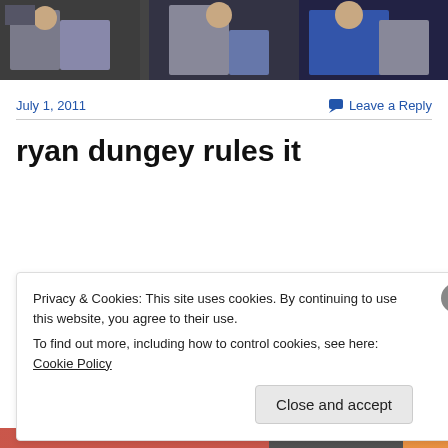[Figure (photo): Three side-by-side photos of people, appears to be a sports or event setting]
July 1, 2011
Leave a Reply
ryan dungey rules it
Privacy & Cookies: This site uses cookies. By continuing to use this website, you agree to their use.
To find out more, including how to control cookies, see here: Cookie Policy
Close and accept